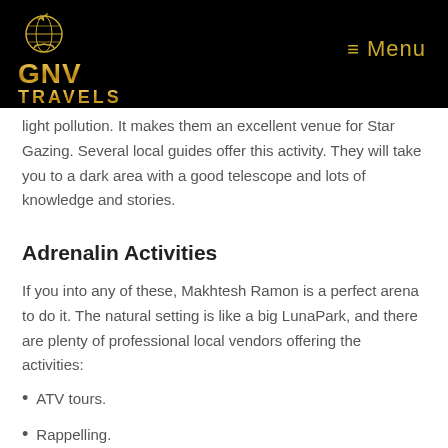[Figure (logo): GNV Travels logo with globe icon, gold text reading GNV TRAVELS go, get lost on black background, with Menu hamburger icon top right]
light pollution. It makes them an excellent venue for Star Gazing. Several local guides offer this activity. They will take you to a dark area with a good telescope and lots of knowledge and stories.
Adrenalin Activities
If you into any of these, Makhtesh Ramon is a perfect arena to do it. The natural setting is like a big LunaPark, and there are plenty of professional local vendors offering the activities:
ATV tours.
Rappelling.